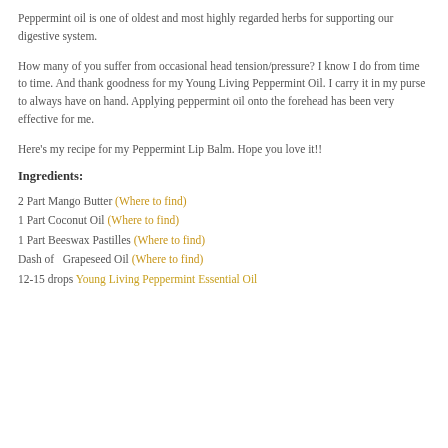Peppermint oil is one of oldest and most highly regarded herbs for supporting our digestive system.
How many of you suffer from occasional head tension/pressure? I know I do from time to time. And thank goodness for my Young Living Peppermint Oil. I carry it in my purse to always have on hand. Applying peppermint oil onto the forehead has been very effective for me.
Here's my recipe for my Peppermint Lip Balm. Hope you love it!!
Ingredients:
2 Part Mango Butter (Where to find)
1 Part Coconut Oil (Where to find)
1 Part Beeswax Pastilles (Where to find)
Dash of  Grapeseed Oil (Where to find)
12-15 drops Young Living Peppermint Essential Oil